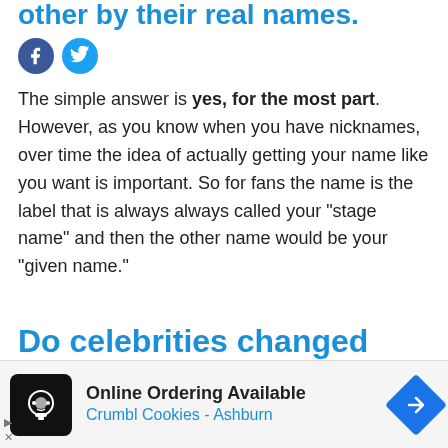other by their real names.
[Figure (infographic): Facebook and Twitter social share icons (circular buttons)]
The simple answer is yes, for the most part. However, as you know when you have nicknames, over time the idea of actually getting your name like you want is important. So for fans the name is the label that is always always called your "stage name" and then the other name would be your "given name."
Do celebrities changed their names when they get
[Figure (infographic): Advertisement for Crumbl Cookies - Ashburn: Online Ordering Available. Shows logo, text, and navigation arrow icon.]